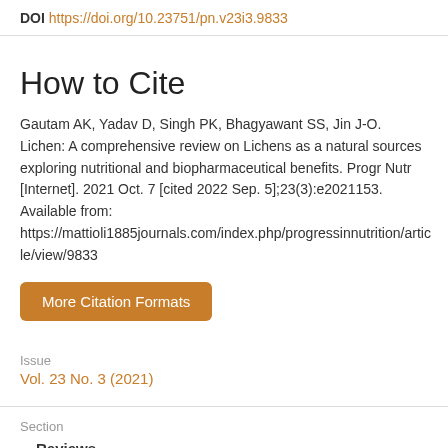DOI https://doi.org/10.23751/pn.v23i3.9833
How to Cite
Gautam AK, Yadav D, Singh PK, Bhagyawant SS, Jin J-O. Lichen: A comprehensive review on Lichens as a natural sources exploring nutritional and biopharmaceutical benefits. Progr Nutr [Internet]. 2021 Oct. 7 [cited 2022 Sep. 5];23(3):e2021153. Available from: https://mattioli1885journals.com/index.php/progressinnutrition/article/view/9833
More Citation Formats
Issue
Vol. 23 No. 3 (2021)
Section
Reviews